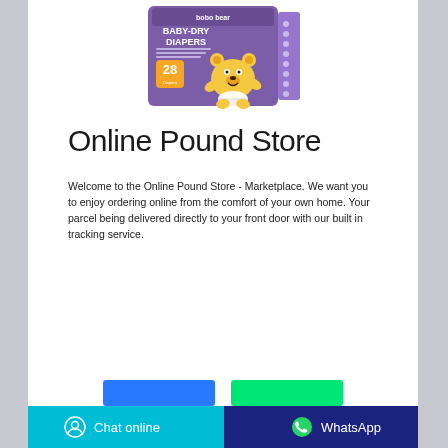[Figure (photo): Product photo of bobo bear Baby-Dry Diapers package, purple box with cartoon bear, 28 count]
Online Pound Store
Welcome to the Online Pound Store - Marketplace. We want you to enjoy ordering online from the comfort of your own home. Your parcel being delivered directly to your front door with our built in tracking service.
[Figure (screenshot): Two buttons: blue button and green button at the bottom of the page]
Chat online   WhatsApp